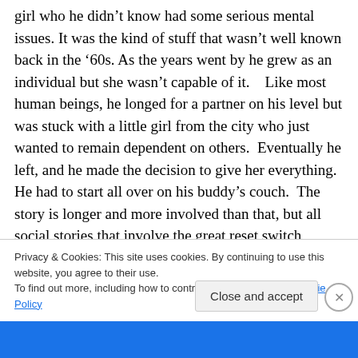girl who he didn't know had some serious mental issues. It was the kind of stuff that wasn't well known back in the '60s. As the years went by he grew as an individual but she wasn't capable of it.    Like most human beings, he longed for a partner on his level but was stuck with a little girl from the city who just wanted to remain dependent on others.  Eventually he left, and he made the decision to give her everything. He had to start all over on his buddy's couch.  The story is longer and more involved than that, but all social stories that involve the great reset switch
Privacy & Cookies: This site uses cookies. By continuing to use this website, you agree to their use.
To find out more, including how to control cookies, see here: Cookie Policy
Close and accept